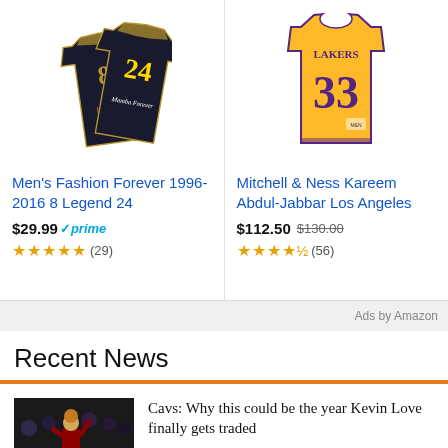[Figure (screenshot): Amazon ad: Men's Fashion Forever 1996-2016 8 Legend 24 jersey, black with gold, showing numbers 8 and 24. Price $29.99 with Prime. 5 stars, 29 reviews.]
[Figure (screenshot): Amazon ad: Mitchell & Ness Kareem Abdul-Jabbar Los Angeles Lakers jersey, gold with purple number 33. Price $112.50 (was $130.00). 4.5 stars, 56 reviews.]
Ads by Amazon
Recent News
[Figure (photo): Basketball player shooting in a game, Cavaliers uniform, crowd in background.]
Cavs: Why this could be the year Kevin Love finally gets traded
[Figure (photo): Kevin Durant photo thumbnail.]
Kevin Durant might have just ruined New York